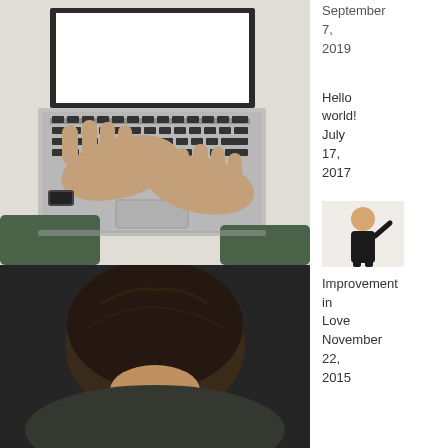[Figure (photo): Overhead view of person's hands typing on a laptop keyboard, person wearing dark green long-sleeve shirt and a watch on left wrist]
[Figure (photo): Top-down view of person's head and dark hair, shoulders in dark clothing against dark background]
September 7, 2019
Hello world! July 17, 2017
[Figure (photo): Small thumbnail image of person standing]
Improvement in Love November 22, 2015